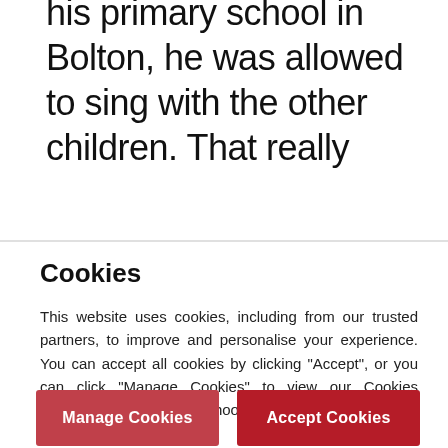his primary school in Bolton, he was allowed to sing with the other children. That really
Cookies
This website uses cookies, including from our trusted partners, to improve and personalise your experience. You can accept all cookies by clicking "Accept", or you can click "Manage Cookies" to view our Cookies Preference Centre and choose which cookies we can use.
Manage Cookies
Accept Cookies